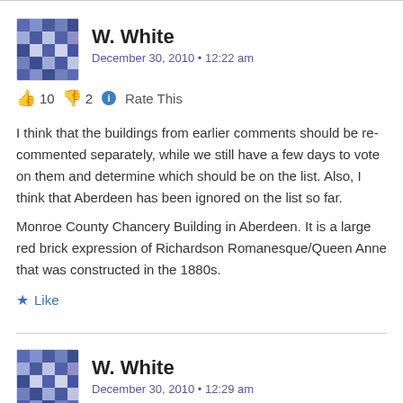[Figure (illustration): Avatar/gravatar icon for W. White - blue and grey geometric pattern]
W. White
December 30, 2010 • 12:22 am
👍 10 👎 2 ℹ Rate This
I think that the buildings from earlier comments should be re-commented separately, while we still have a few days to vote on them and determine which should be on the list. Also, I think that Aberdeen has been ignored on the list so far.
Monroe County Chancery Building in Aberdeen. It is a large red brick expression of Richardson Romanesque/Queen Anne that was constructed in the 1880s.
★ Like
[Figure (illustration): Avatar/gravatar icon for W. White - blue and grey geometric pattern]
W. White
December 30, 2010 • 12:29 am
👍 4 👎 3 ℹ Rate This
St. John's Episcopal Church in Aberdeen. A great 1950s